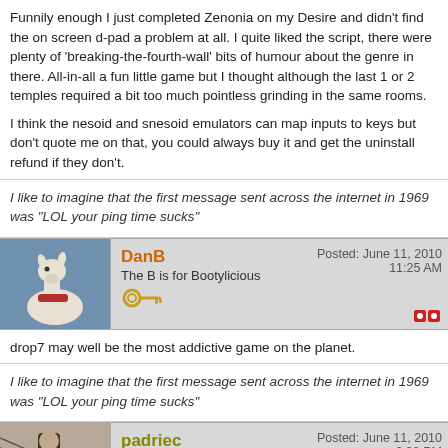Funnily enough I just completed Zenonia on my Desire and didn't find the on screen d-pad a problem at all. I quite liked the script, there were plenty of 'breaking-the-fourth-wall' bits of humour about the genre in there. All-in-all a fun little game but I thought although the last 1 or 2 temples required a bit too much pointless grinding in the same rooms.
I think the nesoid and snesoid emulators can map inputs to keys but don't quote me on that, you could always buy it and get the uninstall refund if they don't.
I like to imagine that the first message sent across the internet in 1969 was "LOL your ping time sucks"
DanB
The B is for Bootylicious
Posted: June 11, 2010 11:25 AM
drop7 may well be the most addictive game on the planet.
I like to imagine that the first message sent across the internet in 1969 was "LOL your ping time sucks"
padriec
Executive
Posted: June 11, 2010 6:08 PM